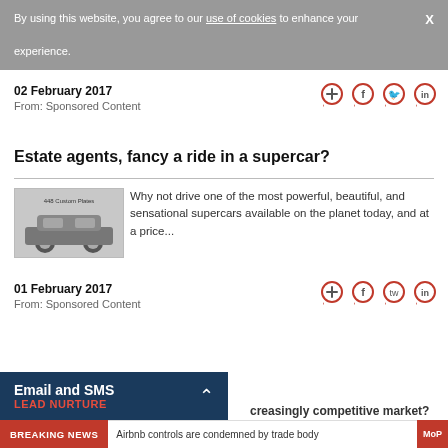By using this website, you agree to our use of cookies to enhance your experience.
02 February 2017
From: Sponsored Content
[Figure (other): Social sharing icons: plus, facebook, twitter, linkedin — circular red outlined speech bubble style]
Estate agents, fancy a ride in a supercar?
[Figure (photo): Small image of a supercar (sports car) with text '448 Custom Plates' overlaid]
Why not drive one of the most powerful, beautiful, and sensational supercars available on the planet today, and at a price...
01 February 2017
From: Sponsored Content
[Figure (other): Social sharing icons: plus, facebook, twitter, linkedin — circular red outlined speech bubble style]
Email and SMS
LEAD NURTURE
creasingly competitive market?
BREAKING NEWS  |  Airbnb controls are condemned by trade body  Mo...